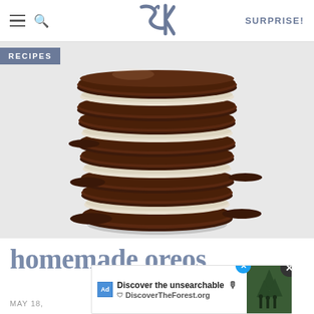SK | SURPRISE!
RECIPES
[Figure (photo): A tall stack of homemade Oreo sandwich cookies, showing multiple chocolate wafer layers with white cream filling, close-up macro shot on white background]
homemade oreos
MAY 18,
[Figure (screenshot): Advertisement overlay: 'Discover the unsearchable' for DiscoverTheForest.org with forest hikers photo and close button]